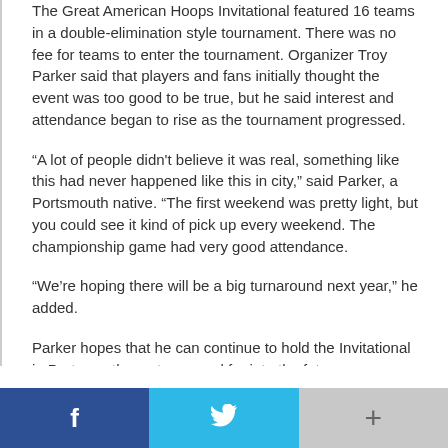The Great American Hoops Invitational featured 16 teams in a double-elimination style tournament. There was no fee for teams to enter the tournament. Organizer Troy Parker said that players and fans initially thought the event was too good to be true, but he said interest and attendance began to rise as the tournament progressed.
“A lot of people didn't believe it was real, something like this had never happened like this in city,” said Parker, a Portsmouth native. “The first weekend was pretty light, but you could see it kind of pick up every weekend. The championship game had very good attendance.
“We’re hoping there will be a big turnaround next year,” he added.
Parker hopes that he can continue to hold the Invitational in Portsmouth, next year and far into the future.